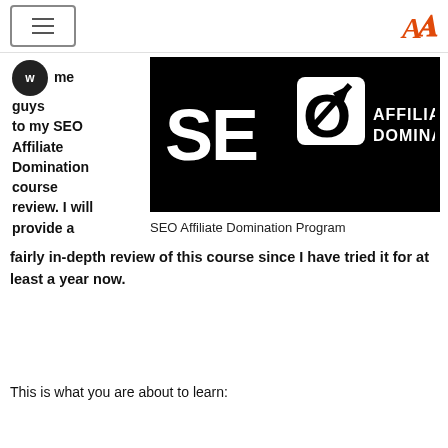Navigation bar with hamburger menu and logo
me guys to my SEO Affiliate Domination course review. I will provide a fairly in-depth review of this course since I have tried it for at least a year now.
[Figure (logo): SEO Affiliate Domination logo on black background with stylized rocket/arrow icon]
SEO Affiliate Domination Program
This is what you are about to learn:
The Advantages and Disadvantages of SEO Affiliate